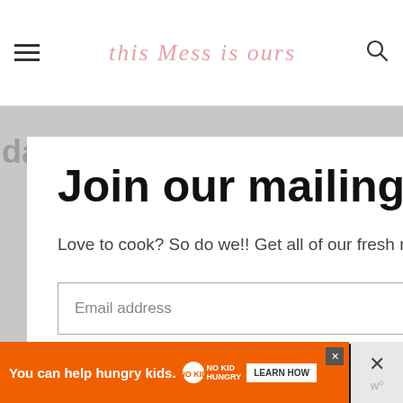this Mess is ours
Join our mailing list.
Love to cook? So do we!! Get all of our fresh recipes delivered right to your inbox.
Email address
Subscribe
You can help hungry kids. LEARN HOW